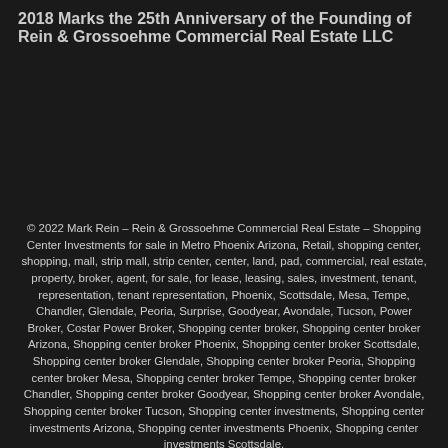2018 Marks the 25th Anniversary of the Founding of Rein & Grossoehme Commercial Real Estate LLC
© 2022 Mark Rein – Rein & Grossoehme Commercial Real Estate – Shopping Center Investments for sale in Metro Phoenix Arizona, Retail, shopping center, shopping, mall, strip mall, strip center, center, land, pad, commercial, real estate, property, broker, agent, for sale, for lease, leasing, sales, investment, tenant, representation, tenant representation, Phoenix, Scottsdale, Mesa, Tempe, Chandler, Glendale, Peoria, Surprise, Goodyear, Avondale, Tucson, Power Broker, Costar Power Broker, Shopping center broker, Shopping center broker Arizona, Shopping center broker Phoenix, Shopping center broker Scottsdale, Shopping center broker Glendale, Shopping center broker Peoria, Shopping center broker Mesa, Shopping center broker Tempe, Shopping center broker Chandler, Shopping center broker Goodyear, Shopping center broker Avondale, Shopping center broker Tucson, Shopping center investments, Shopping center investments Arizona, Shopping center investments Phoenix, Shopping center investments Scottsdale,